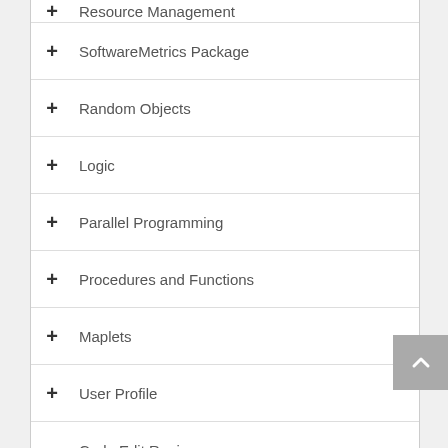Resource Management
SoftwareMetrics Package
Random Objects
Logic
Parallel Programming
Procedures and Functions
Maplets
User Profile
Code Edit Region
CompSeq
IsWorksheetInterface
Startup Code